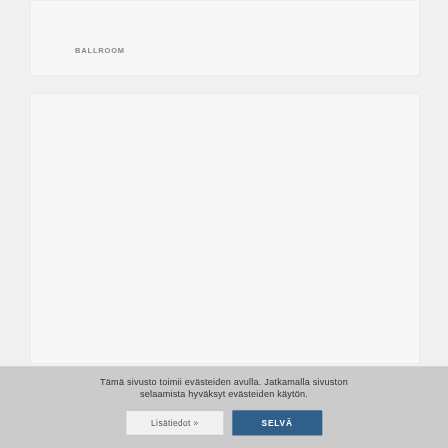[Figure (screenshot): A card/panel with the label BALLROOM in gray uppercase letters on a light gray background]
[Figure (screenshot): A large empty card/panel with a light gray background and thin border]
Tämä sivusto toimii evästeiden avulla. Jatkamalla sivuston selaamista hyväksyt evästeiden käytön.
Lisätiedot »
SELVÄ